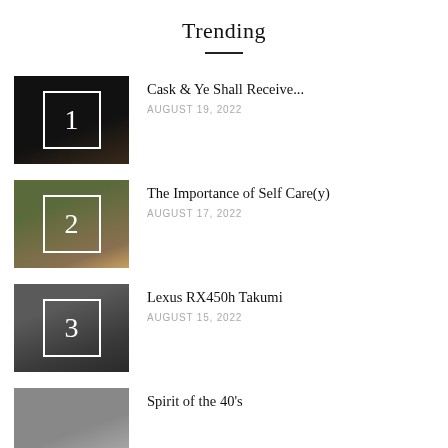Trending
Cask & Ye Shall Receive...
AUGUST 19, 2022
The Importance of Self Care(y)
AUGUST 17, 2022
Lexus RX450h Takumi
AUGUST 15, 2022
Spirit of the 40's